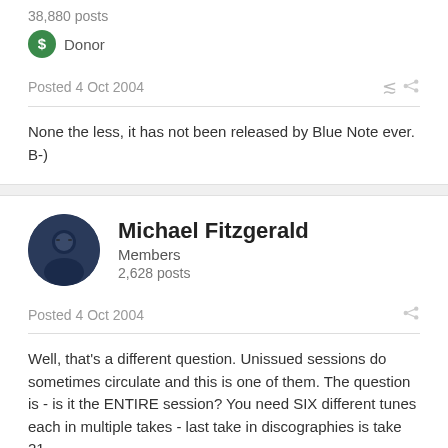38,880 posts
Donor
Posted 4 Oct 2004
None the less, it has not been released by Blue Note ever. B-)
[Figure (photo): Avatar image of Michael Fitzgerald - dark circular profile photo]
Michael Fitzgerald
Members
2,628 posts
Posted 4 Oct 2004
Well, that's a different question. Unissued sessions do sometimes circulate and this is one of them. The question is - is it the ENTIRE session? You need SIX different tunes each in multiple takes - last take in discographies is take 21.
I would be interested to hear what you find about that.